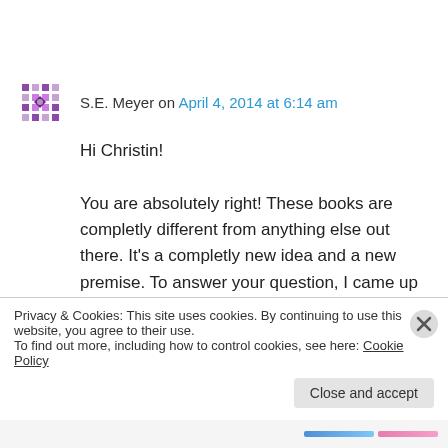S.E. Meyer on April 4, 2014 at 6:14 am
Hi Christin!
You are absolutely right! These books are completly different from anything else out there. It's a completly new idea and a new premise. To answer your question, I came up with the idea for this book from my head but it wasn't until I had done years of research on some of the true
Privacy & Cookies: This site uses cookies. By continuing to use this website, you agree to their use.
To find out more, including how to control cookies, see here: Cookie Policy
Close and accept